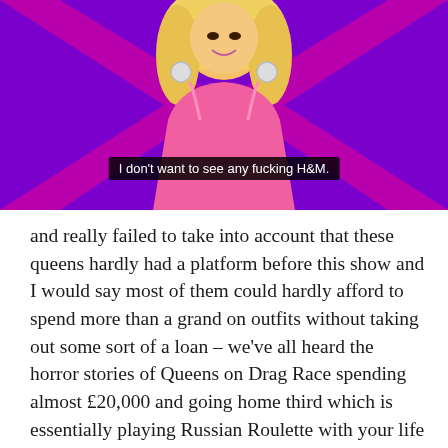[Figure (screenshot): Screenshot from a TV show (likely RuPaul's Drag Race UK) showing a drag queen in a pink sequined outfit with blonde hair and large hoop earrings, against a bright purple/pink background with X patterns. A subtitle bar reads: I don't want to see any fucking H&M.]
and really failed to take into account that these queens hardly had a platform before this show and I would say most of them could hardly afford to spend more than a grand on outfits without taking out some sort of a loan – we've all heard the horror stories of Queens on Drag Race spending almost £20,000 and going home third which is essentially playing Russian Roulette with your life because production could screw you over at a moments notice. And if the show is so invested in the queens knocking it out with high tier outfits and costumes to make your jaw drop, maybe give them a budget to work it, help them out A LITTLE BIT because even good quality stones and fabric are